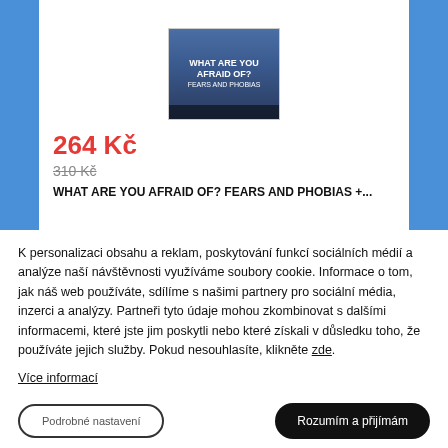[Figure (photo): Book cover image for 'WHAT ARE YOU AFRAID OF? FEARS AND PHOBIAS' displayed in a product card on a blue background]
264 Kč
310 Kč (strikethrough)
WHAT ARE YOU AFRAID OF? FEARS AND PHOBIAS +...
K personalizaci obsahu a reklam, poskytování funkcí sociálních médií a analýze naší návštěvnosti využíváme soubory cookie. Informace o tom, jak náš web používáte, sdílíme s našimi partnery pro sociální média, inzerci a analýzy. Partneři tyto údaje mohou zkombinovat s dalšími informacemi, které jste jim poskytli nebo které získali v důsledku toho, že používáte jejich služby. Pokud nesouhlasíte, klikněte zde.
Více informací
Podrobné nastavení
Rozumím a přijímám